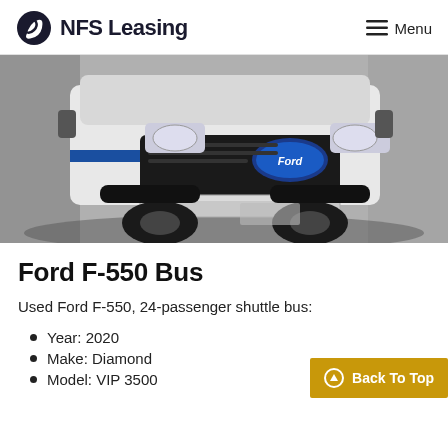NFS Leasing   Menu
[Figure (photo): Front view of a white Ford F-550 shuttle bus, showing the grille, headlights, and front bumper in a parking lot setting.]
Ford F-550 Bus
Used Ford F-550, 24-passenger shuttle bus:
Year: 2020
Make: Diamond
Model: VIP 3500